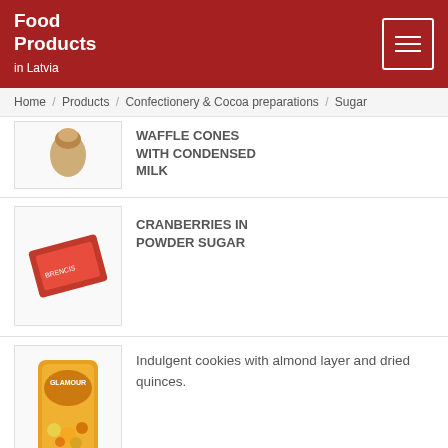Food Products in Latvia
Home / Products / Confectionery & Cocoa preparations / Sugar
[Figure (photo): Waffle cones with condensed milk product thumbnail]
WAFFLE CONES WITH CONDENSED MILK
[Figure (photo): Cranberries in powder sugar product thumbnail - red packaged product]
CRANBERRIES IN POWDER SUGAR
[Figure (photo): Glamour cookies product thumbnail - orange/yellow bag with fruits]
Indulgent cookies with almond layer and dried quinces.